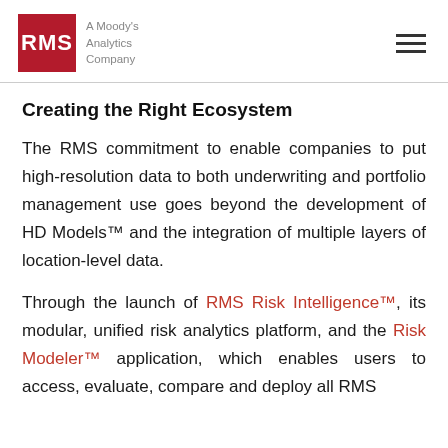RMS — A Moody's Analytics Company
Creating the Right Ecosystem
The RMS commitment to enable companies to put high-resolution data to both underwriting and portfolio management use goes beyond the development of HD Models™ and the integration of multiple layers of location-level data.
Through the launch of RMS Risk Intelligence™, its modular, unified risk analytics platform, and the Risk Modeler™ application, which enables users to access, evaluate, compare and deploy all RMS